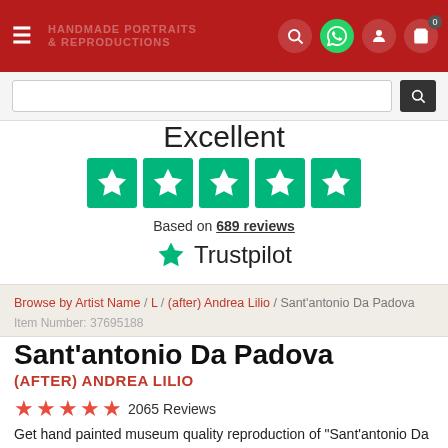Handmade Portraits & Reproductions
Excellent
[Figure (other): Five green Trustpilot star rating boxes]
Based on 689 reviews
[Figure (logo): Trustpilot logo with green star]
Browse by Artist Name / L / (after) Andrea Lilio / Sant'antonio Da Padova
Item Number: 37695188
Sant'antonio Da Padova
(AFTER) ANDREA LILIO
2065 Reviews
Get hand painted museum quality reproduction of "Sant'antonio Da Padova" by (after) Andrea Lilio. The Reproduction will be